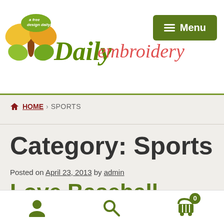Daily Embroidery — a free design daily! — Menu
HOME › SPORTS
Category: Sports
Posted on April 23, 2013 by admin
Love Baseball
user icon, search icon, cart icon with badge 0